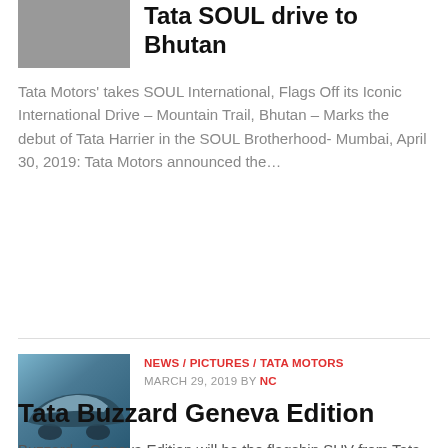[Figure (photo): Partial thumbnail image of a vehicle, partially cropped at top]
Tata SOUL drive to Bhutan
Tata Motors' takes SOUL International, Flags Off its Iconic International Drive – Mountain Trail, Bhutan – Marks the debut of Tata Harrier in the SOUL Brotherhood- Mumbai, April 30, 2019: Tata Motors announced the…
[Figure (photo): Thumbnail photo of Tata Buzzard SUV in blue/silver color]
NEWS / PICTURES / TATA MOTORS
MARCH 29, 2019 BY NC
Tata Buzzard Geneva Edition
Buzzard – Geneva Edition will be the flagship SUV from Tata Motors taking forward the new standards of SUV in India. A global SUV, which is the true personification of luxury and